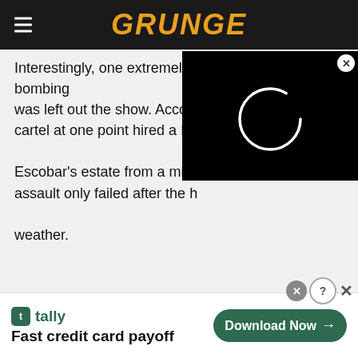GRUNGE
Interestingly, one extremely surreal attempted bombing was left out the show. Accordi... cartel at one point hired a Brit... Escobar's estate from a milita... assault only failed after the he... weather.
[Figure (screenshot): Black video player overlay with a loading spinner (white partial circle) in the center, and a close (X) button in the top-right corner.]
[Figure (other): Advertisement banner for Tally app. Shows Tally logo, text 'Fast credit card payoff', and a green 'Download Now' button with arrow.]